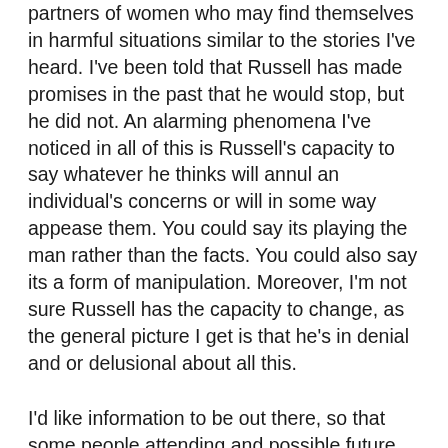partners of women who may find themselves in harmful situations similar to the stories I've heard. I've been told that Russell has made promises in the past that he would stop, but he did not. An alarming phenomena I've noticed in all of this is Russell's capacity to say whatever he thinks will annul an individual's concerns or will in some way appease them. You could say its playing the man rather than the facts. You could also say its a form of manipulation. Moreover, I'm not sure Russell has the capacity to change, as the general picture I get is that he's in denial and or delusional about all this.
I'd like information to be out there, so that some people attending and possible future attendees can at the least keep their wits about them. It's amazing that this has all been happening for such a long time in secrecy, but a lot of that has been because individuals have believed their experience was isolated, have been manipulated in such a way to be completely confused and/or they have been silenced in